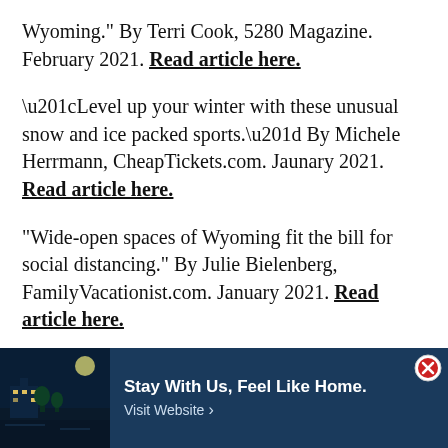Wyoming." By Terri Cook, 5280 Magazine. February 2021. Read article here.
“Level up your winter with these unusual snow and ice packed sports.” By Michele Herrmann, CheapTickets.com. Jaunary 2021. Read article here.
"Wide-open spaces of Wyoming fit the bill for social distancing." By Julie Bielenberg, FamilyVacationist.com. January 2021. Read article here.
[Figure (other): Advertisement banner with dark blue background showing a hotel/building image on the left, text 'Stay With Us, Feel Like Home.' and 'Visit Website >' on the right, with a red X close button in the top-right corner.]